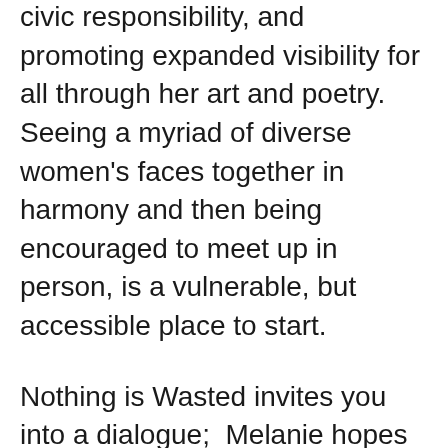civic responsibility, and promoting expanded visibility for all through her art and poetry. Seeing a myriad of diverse women's faces together in harmony and then being encouraged to meet up in person, is a vulnerable, but accessible place to start.
Nothing is Wasted invites you into a dialogue;  Melanie hopes to converse and collaborate with you throughout the summer at the Co Creative Center where her solo exhibition will include over 300 pieces of mixed media art and an interactive corner for you to create